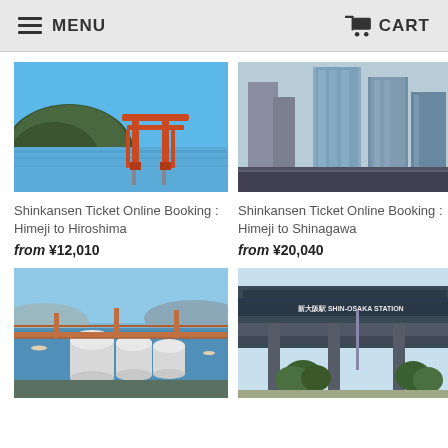MENU  CART
[Figure (photo): Itsukushima floating torii gate in water with mountain behind, blue sky]
[Figure (photo): Modern skyscrapers / Shinagawa city skyline with glass towers]
Shinkansen Ticket Online Booking : Himeji to Hiroshima
from ¥12,010
Shinkansen Ticket Online Booking : Himeji to Shinagawa
from ¥20,040
[Figure (photo): Industrial port with large white storage tanks and bridge over water]
[Figure (photo): Shin-Osaka Station exterior sign and bridge with trees]